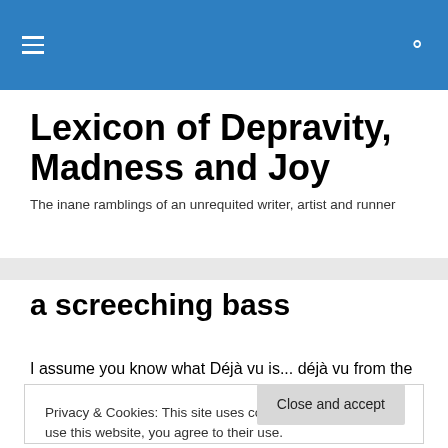≡  🔍
Lexicon of Depravity, Madness and Joy
The inane ramblings of an unrequited writer, artist and runner
a screeching bass
I assume you know what Déjà vu is... déjà vu from the
Privacy & Cookies: This site uses cookies. By continuing to use this website, you agree to their use.
To find out more, including how to control cookies, see here: Cookie Policy
and texture of it is so pervasive and striking that